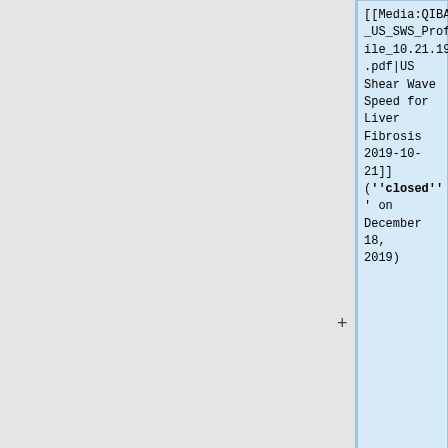[[Media:QIBA_US_SWS_Profile_10.21.19.pdf|US Shear Wave Speed for Liver Fibrosis 2019-10-21]] ('''closed''' on December 18, 2019)
* [[Media:QIBAUSSWSRoster.pdf|QIBA US SWS Technical
: * [[Media:SWSChecklists-Appendix E.xlsx|Appendix E: SWS